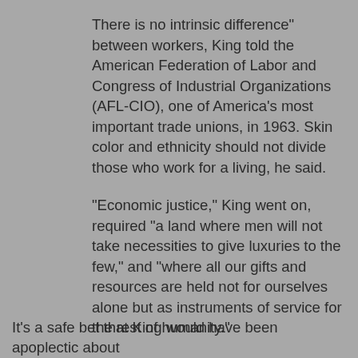There is no intrinsic difference" between workers, King told the American Federation of Labor and Congress of Industrial Organizations (AFL-CIO), one of America's most important trade unions, in 1963. Skin color and ethnicity should not divide those who work for a living, he said.
“Economic justice,” King went on, required “a land where men will not take necessities to give luxuries to the few,” and “where all our gifts and resources are held not for ourselves alone but as instruments of service for the rest of humanity.”
This agenda was not only about civil rights. The 28 August demonstration that culminated in King’s I Have a Dream speech was publicized as the March on Washington for Jobs and Freedom. It was the result of many years of organizing by black workers and their unions.
It’s a safe bet that King would have been apoplectic about